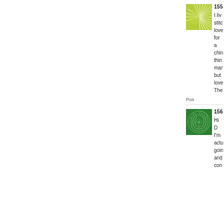[Figure (illustration): Yellow-green decorative avatar with radiating petal/fan pattern]
155...
I live... stitch... love... for ... chin... thin... man... but... love... The...
Pos...
[Figure (illustration): Dark green swirling spiral decorative avatar]
156...
Hi D... I'm ... actu... goin... and... con...